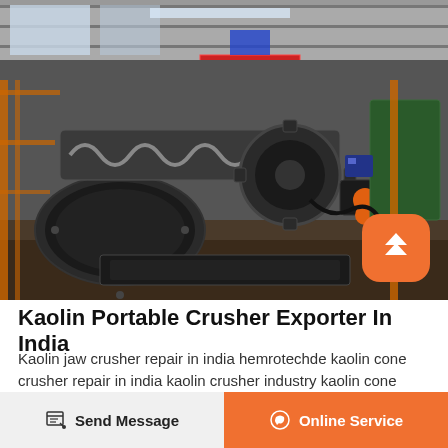[Figure (photo): Industrial factory floor with large mining/crushing machinery including ball mills, conveyor screws, large gear wheels and motors viewed from above. Heavy equipment in a workshop setting with red banners visible.]
Kaolin Portable Crusher Exporter In India
Kaolin jaw crusher repair in india hemrotechde kaolin cone crusher repair in india kaolin crusher industry kaolin cone crusher supplier in angolaaardappelpureeaolin impact crusher